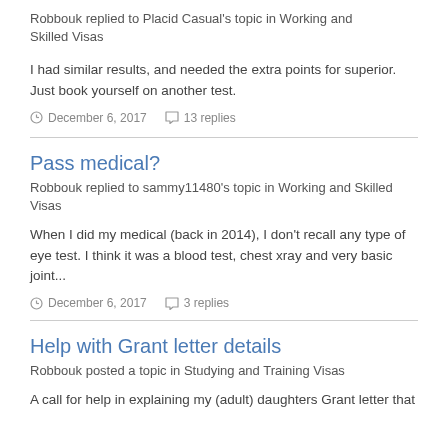Robbouk replied to Placid Casual's topic in Working and Skilled Visas
I had similar results, and needed the extra points for superior. Just book yourself on another test.
December 6, 2017   13 replies
Pass medical?
Robbouk replied to sammy11480's topic in Working and Skilled Visas
When I did my medical (back in 2014), I don't recall any type of eye test. I think it was a blood test, chest xray and very basic joint...
December 6, 2017   3 replies
Help with Grant letter details
Robbouk posted a topic in Studying and Training Visas
A call for help in explaining my (adult) daughters Grant letter that